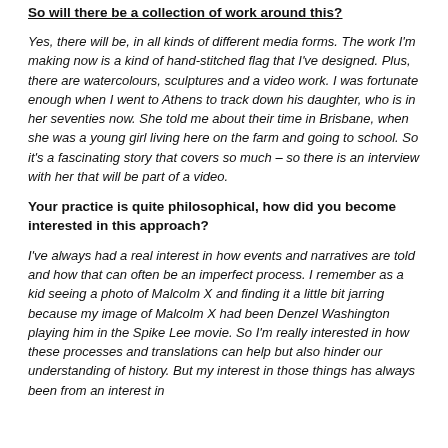So will there be a collection of work around this?
Yes, there will be, in all kinds of different media forms. The work I'm making now is a kind of hand-stitched flag that I've designed. Plus, there are watercolours, sculptures and a video work. I was fortunate enough when I went to Athens to track down his daughter, who is in her seventies now. She told me about their time in Brisbane, when she was a young girl living here on the farm and going to school. So it's a fascinating story that covers so much – so there is an interview with her that will be part of a video.
Your practice is quite philosophical, how did you become interested in this approach?
I've always had a real interest in how events and narratives are told and how that can often be an imperfect process. I remember as a kid seeing a photo of Malcolm X and finding it a little bit jarring because my image of Malcolm X had been Denzel Washington playing him in the Spike Lee movie. So I'm really interested in how these processes and translations can help but also hinder our understanding of history. But my interest in those things has always been from an interest in